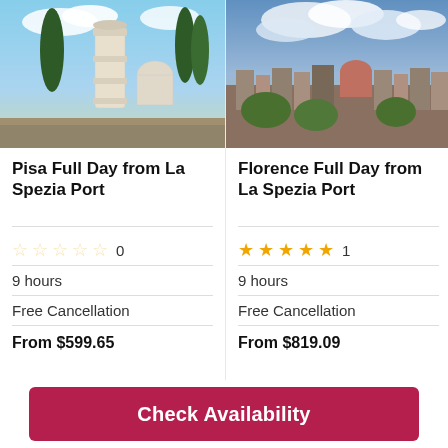[Figure (photo): Photo of the Leaning Tower of Pisa with cypress trees and cathedral]
Pisa Full Day from La Spezia Port
☆☆☆☆☆ 0
9 hours
Free Cancellation
From $599.65
[Figure (photo): Aerial panoramic photo of Florence cityscape with cloudy sky]
Florence Full Day from La Spezia Port
★★★★★ 1
9 hours
Free Cancellation
From $819.09
[Figure (photo): Partial photo of Pisa cathedral with green lawn]
Pisa Crui…
★★…
9 ho…
Free…
From…
Check Availability